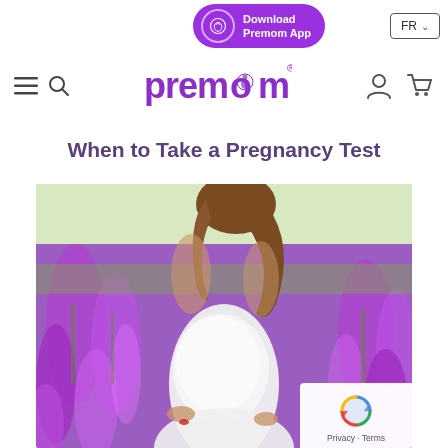[Figure (screenshot): Premom website header with download app button (purple pill button) and FR language selector]
[Figure (logo): Premom logo in purple with tagline icon inside letter O]
When to Take a Pregnancy Test
[Figure (photo): Pregnant woman in white dress standing in a purple flower field, showing baby bump from mid-torso down]